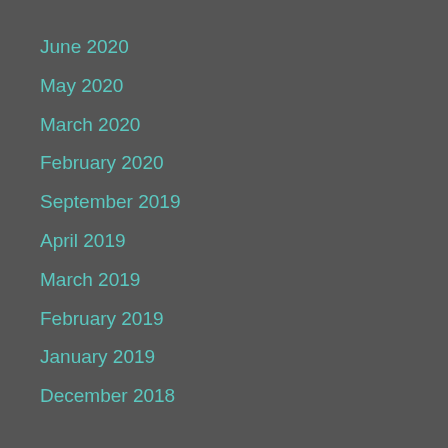June 2020
May 2020
March 2020
February 2020
September 2019
April 2019
March 2019
February 2019
January 2019
December 2018